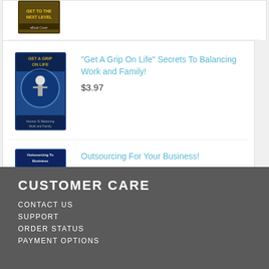[Figure (illustration): Book cover (partially visible at top) - dark colored ebook cover]
[Figure (illustration): Book cover for Get A Grip On Life - blue ebook cover with person standing]
“Get A Grip On Life” Secrets To Balancing Work and Family!
$3.97
[Figure (illustration): Book cover for Outsourcing For Your Business - blue ebook cover with people silhouettes]
Outsourcing For Your Business!
$3.77
CUSTOMER CARE
CONTACT US
SUPPORT
ORDER STATUS
PAYMENT OPTIONS